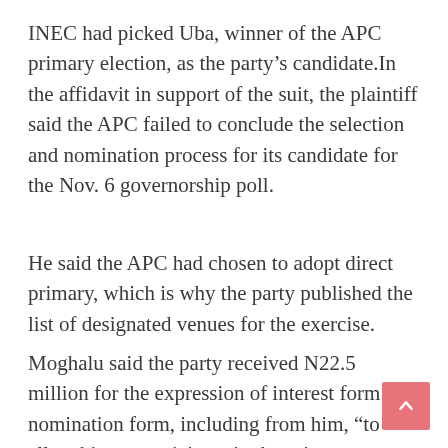INEC had picked Uba, winner of the APC primary election, as the party’s candidate.In the affidavit in support of the suit, the plaintiff said the APC failed to conclude the selection and nomination process for its candidate for the Nov. 6 governorship poll.
He said the APC had chosen to adopt direct primary, which is why the party published the list of designated venues for the exercise.
Moghalu said the party received N22.5 million for the expression of interest form and nomination form, including from him, “to allow him to participate in the primary election exercise”.